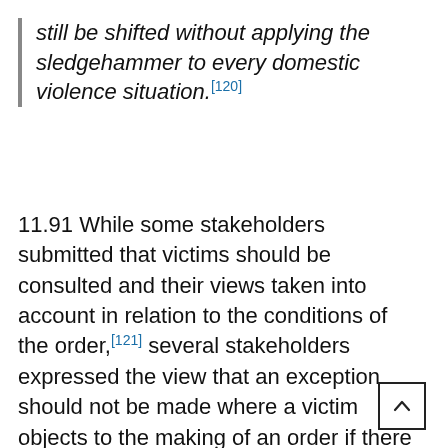still be shifted without applying the sledgehammer to every domestic violence situation.[120]
11.91 While some stakeholders submitted that victims should be consulted and their views taken into account in relation to the conditions of the order,[121] several stakeholders expressed the view that an exception should not be made where a victim objects to the making of an order if there are reasonable grounds to think the victim's safety might be